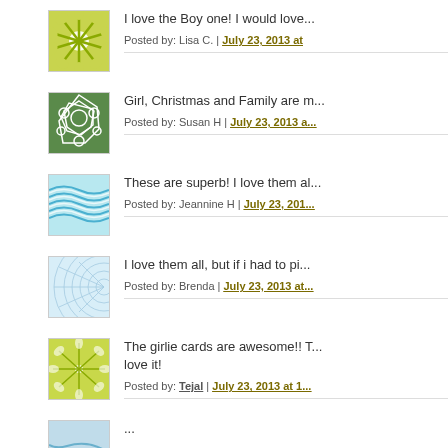I love the Boy one! I would love...
Posted by: Lisa C. | July 23, 2013 at...
Girl, Christmas and Family are m...
Posted by: Susan H | July 23, 2013 a...
These are superb! I love them al...
Posted by: Jeannine H | July 23, 201...
I love them all, but if i had to pi...
Posted by: Brenda | July 23, 2013 at...
The girlie cards are awesome!! T... love it!
Posted by: Tejal | July 23, 2013 at 1...